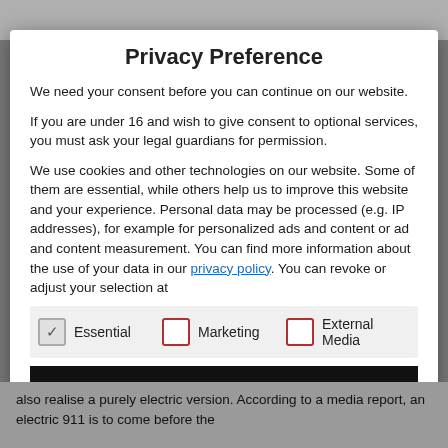Privacy Preference
We need your consent before you can continue on our website.
If you are under 16 and wish to give consent to optional services, you must ask your legal guardians for permission.
We use cookies and other technologies on our website. Some of them are essential, while others help us to improve this website and your experience. Personal data may be processed (e.g. IP addresses), for example for personalized ads and content or ad and content measurement. You can find more information about the use of your data in our privacy policy. You can revoke or adjust your selection at
Essential (checked)
Marketing (unchecked)
External Media (unchecked)
also realise a purely electric version. According to a media report, an electric 911 is to come before the